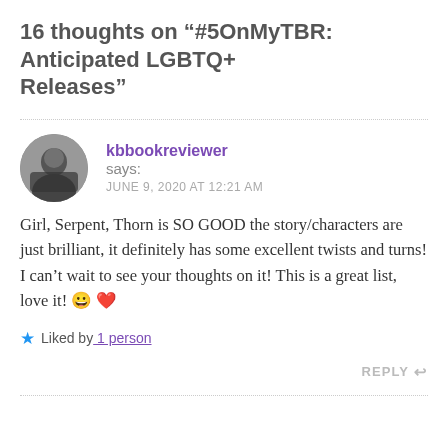16 thoughts on “#5OnMyTBR: Anticipated LGBTQ+ Releases”
kbbookreviewer says:
JUNE 9, 2020 AT 12:21 AM
Girl, Serpent, Thorn is SO GOOD the story/characters are just brilliant, it definitely has some excellent twists and turns! I can’t wait to see your thoughts on it! This is a great list, love it! 😀 ❤️
Liked by 1 person
REPLY